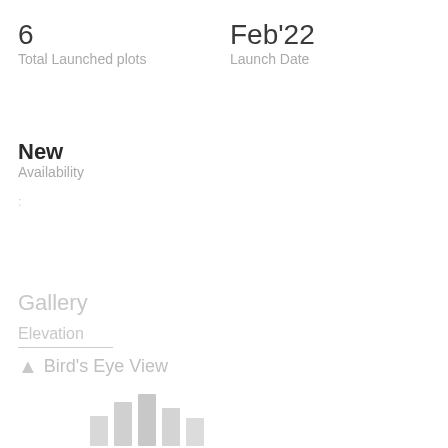6
Total Launched plots
Feb'22
Launch Date
New
Availability
:
Gallery
Elevation
Bird's Eye View